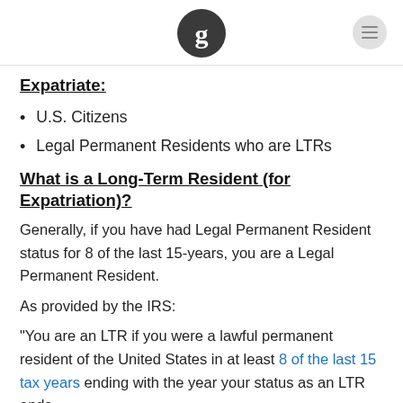[Guardian logo and menu icon]
Expatriate:
U.S. Citizens
Legal Permanent Residents who are LTRs
What is a Long-Term Resident (for Expatriation)?
Generally, if you have had Legal Permanent Resident status for 8 of the last 15-years, you are a Legal Permanent Resident.
As provided by the IRS:
“You are an LTR if you were a lawful permanent resident of the United States in at least 8 of the last 15 tax years ending with the year your status as an LTR ends.